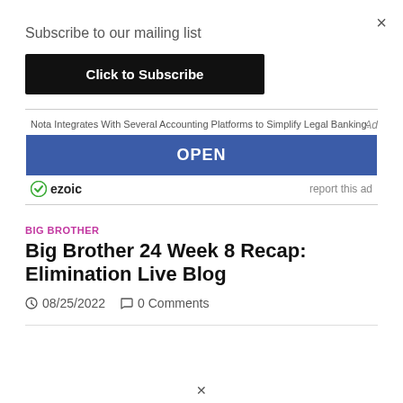×
Subscribe to our mailing list
Click to Subscribe
[Figure (screenshot): Advertisement banner: 'Nota Integrates With Several Accounting Platforms to Simplify Legal Banking.' with an OPEN button and ezoic ad attribution]
BIG BROTHER
Big Brother 24 Week 8 Recap: Elimination Live Blog
08/25/2022   0 Comments